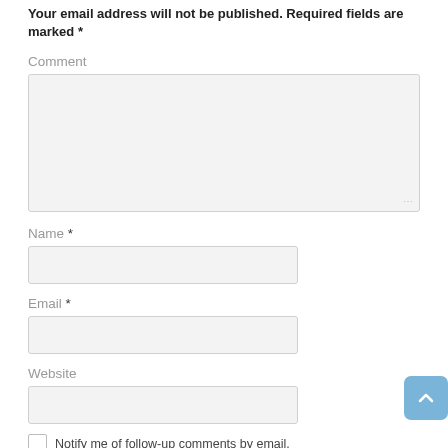Your email address will not be published. Required fields are marked *
Comment
Name *
Email *
Website
Notify me of follow-up comments by email.
Notify me of new posts by email.